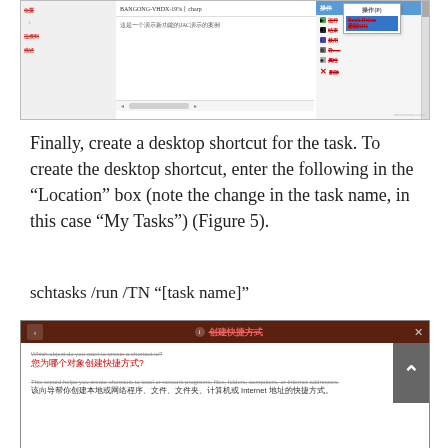[Figure (screenshot): Screenshot of a Windows task scheduler UI with Chinese text labels, showing fields for location, connection, and description with a dropdown context menu visible on the right side.]
Finally, create a desktop shortcut for the task. To create the desktop shortcut, enter the following in the “Location” box (note the change in the task name, in this case “My Tasks”) (Figure 5).
schtasks /run /TN “[task name]”
[Figure (screenshot): Screenshot of a Windows dialog box with dark red/brown title bar showing Chinese text for creating a shortcut wizard, with a white content area containing Chinese instructions about creating shortcuts to local/network programs, files, folders, computers, or internet addresses.]